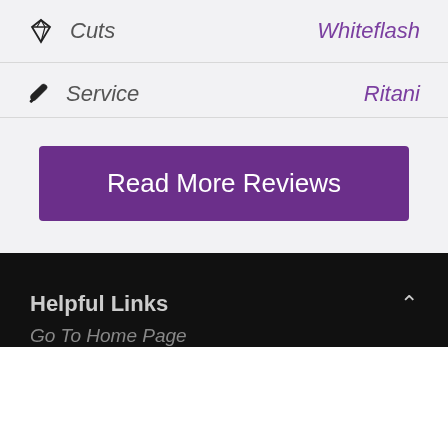Cuts — Whiteflash
Service — Ritani
Read More Reviews
Helpful Links
Go To Home Page